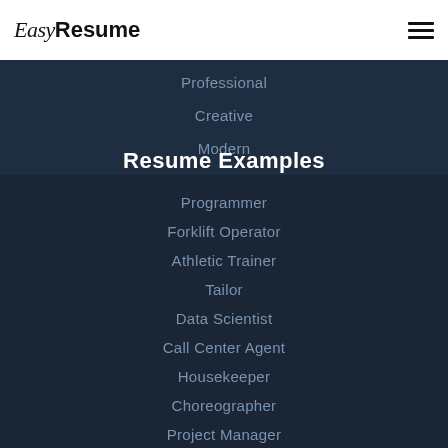[Figure (logo): Easy Resume logo with italic 'Easy' and bold 'Resume' text]
Professional
Creative
Modern
Resume Examples
Programmer
Forklift Operator
Athletic Trainer
Tailor
Data Scientist
Call Center Agent
Housekeeper
Choreographer
Project Manager